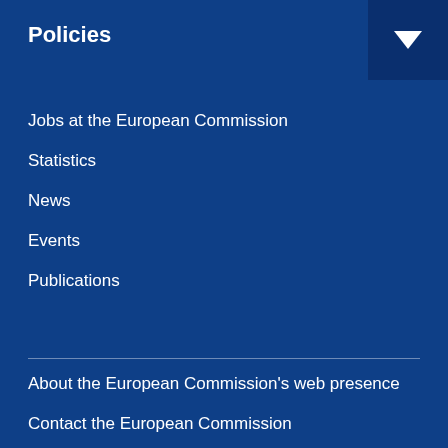Policies
Jobs at the European Commission
Statistics
News
Events
Publications
About the European Commission's web presence
Contact the European Commission
Follow the European Commission on social media ↗
Resources for partners
Languages on our websites
Cookies